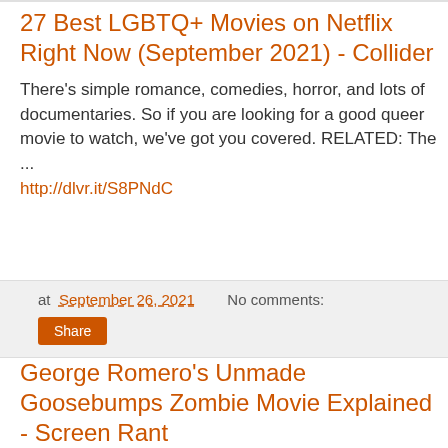27 Best LGBTQ+ Movies on Netflix Right Now (September 2021) - Collider
There's simple romance, comedies, horror, and lots of documentaries. So if you are looking for a good queer movie to watch, we've got you covered. RELATED: The ... http://dlvr.it/S8PNdC
at September 26, 2021   No comments:
Share
George Romero's Unmade Goosebumps Zombie Movie Explained - Screen Rant
George Romero nearly made a Goosebumps movie involving zombies and possession in a suburban town that